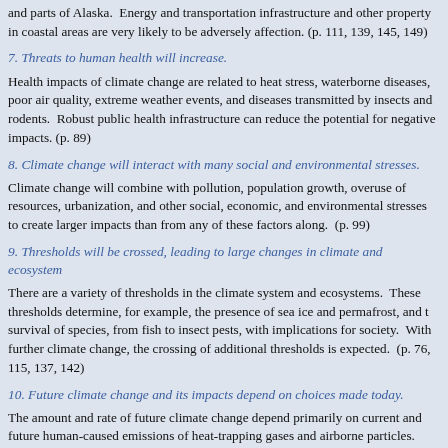and parts of Alaska. Energy and transportation infrastructure and other property in coastal areas are very likely to be adversely affection. (p. 111, 139, 145, 149)
7. Threats to human health will increase.
Health impacts of climate change are related to heat stress, waterborne diseases, poor air quality, extreme weather events, and diseases transmitted by insects and rodents. Robust public health infrastructure can reduce the potential for negative impacts. (p. 89)
8. Climate change will interact with many social and environmental stresses.
Climate change will combine with pollution, population growth, overuse of resources, urbanization, and other social, economic, and environmental stresses to create larger impacts than from any of these factors along. (p. 99)
9. Thresholds will be crossed, leading to large changes in climate and ecosystem
There are a variety of thresholds in the climate system and ecosystems. These thresholds determine, for example, the presence of sea ice and permafrost, and the survival of species, from fish to insect pests, with implications for society. With further climate change, the crossing of additional thresholds is expected. (p. 76, 115, 137, 142)
10. Future climate change and its impacts depend on choices made today.
The amount and rate of future climate change depend primarily on current and future human-caused emissions of heat-trapping gases and airborne particles.